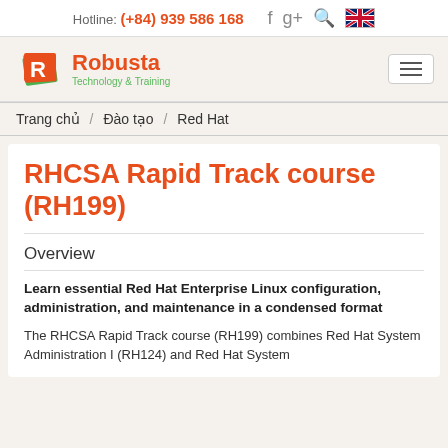Hotline: (+84) 939 586 168
[Figure (logo): Robusta Technology & Training logo with stylized R icon in orange and green]
Trang chủ / Đào tạo / Red Hat
RHCSA Rapid Track course (RH199)
Overview
Learn essential Red Hat Enterprise Linux configuration, administration, and maintenance in a condensed format
The RHCSA Rapid Track course (RH199) combines Red Hat System Administration I (RH124) and Red Hat System